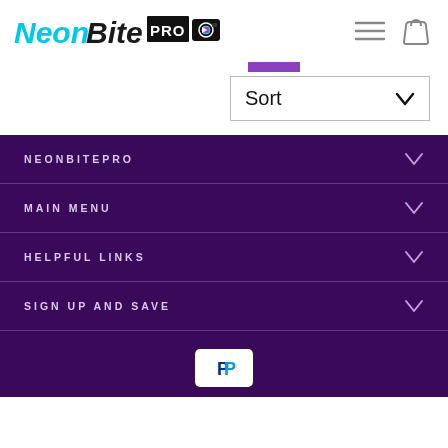[Figure (logo): NeonBitePRO logo with colorful text and camera icon]
[Figure (screenshot): Sort dropdown UI element with chevron]
NEONBITEPRO
MAIN MENU
HELPFUL LINKS
SIGN UP AND SAVE
[Figure (logo): PayPal payment button logo]